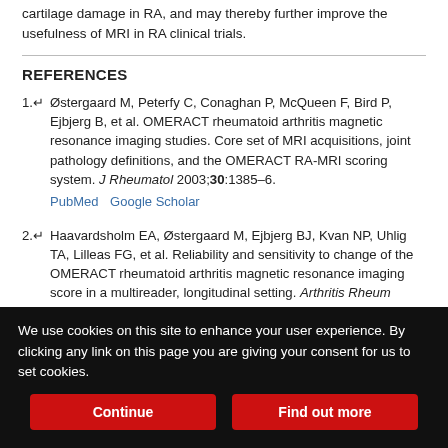cartilage damage in RA, and may thereby further improve the usefulness of MRI in RA clinical trials.
REFERENCES
1. Østergaard M, Peterfy C, Conaghan P, McQueen F, Bird P, Ejbjerg B, et al. OMERACT rheumatoid arthritis magnetic resonance imaging studies. Core set of MRI acquisitions, joint pathology definitions, and the OMERACT RA-MRI scoring system. J Rheumatol 2003;30:1385–6. PubMed Google Scholar
2. Haavardsholm EA, Østergaard M, Ejbjerg BJ, Kvan NP, Uhlig TA, Lilleas FG, et al. Reliability and sensitivity to change of the OMERACT rheumatoid arthritis magnetic resonance imaging score in a multireader, longitudinal setting. Arthritis Rheum 2005;52:3860–7. CrossRef PubMed Google Scholar
We use cookies on this site to enhance your user experience. By clicking any link on this page you are giving your consent for us to set cookies.